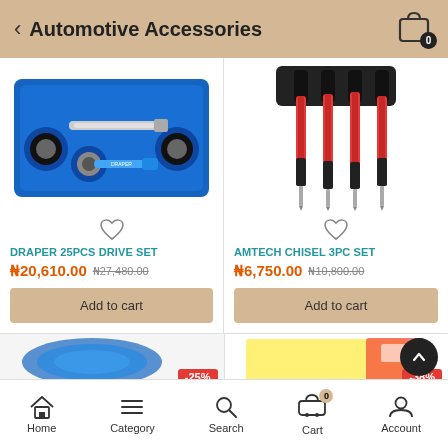Automotive Accessories
[Figure (photo): Draper 25-piece socket drive set in blue case with ratchet and extension bar]
[Figure (photo): Amtech 3-piece chisel set with orange and black handles standing upright in holder]
DRAPER 25PCS DRIVE SET
₦20,610.00 ₦27,480.00
AMTECH CHISEL 3PC SET
₦6,750.00 ₦10,800.00
[Figure (photo): Partial view of blue coiled hose/rope product with -25% discount badge]
[Figure (photo): Partial view of packaged product with -38% discount badge]
Home  Category  Search  Cart  Account